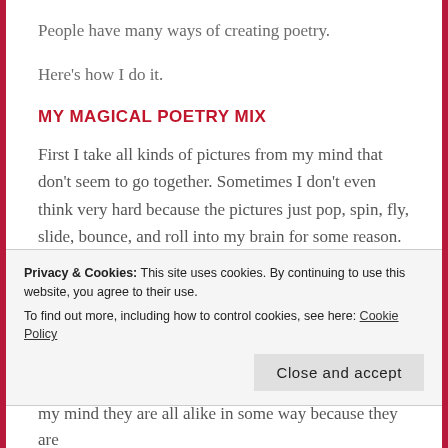People have many ways of creating poetry.
Here's how I do it.
MY MAGICAL POETRY MIX
First I take all kinds of pictures from my mind that don't seem to go together. Sometimes I don't even think very hard because the pictures just pop, spin, fly, slide, bounce, and roll into my brain for some reason.
Suddenly this strange group of images are
Privacy & Cookies: This site uses cookies. By continuing to use this website, you agree to their use.
To find out more, including how to control cookies, see here: Cookie Policy
my mind they are all alike in some way because they are